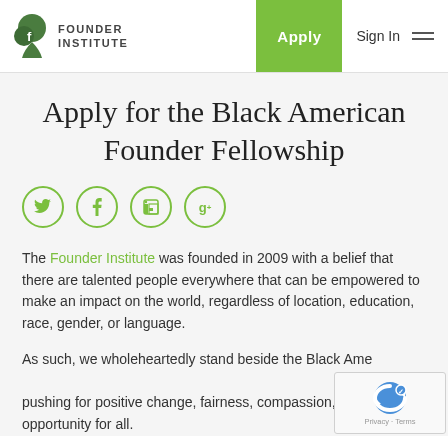Founder Institute — Apply | Sign In
Apply for the Black American Founder Fellowship
[Figure (illustration): Social sharing icons row: Twitter, Facebook, LinkedIn, Google+ — green circle outlines]
The Founder Institute was founded in 2009 with a belief that there are talented people everywhere that can be empowered to make an impact on the world, regardless of location, education, race, gender, or language.
As such, we wholeheartedly stand beside the Black Ame... pushing for positive change, fairness, compassion, and opportunity for all.
[Figure (illustration): Google reCAPTCHA badge with logo and Privacy · Terms text]